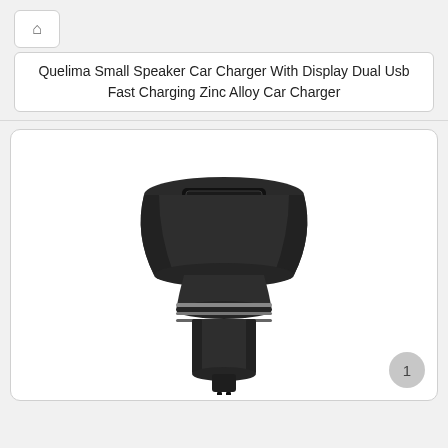🏠
Quelima Small Speaker Car Charger With Display Dual Usb Fast Charging Zinc Alloy Car Charger
[Figure (photo): A black zinc alloy car charger shaped like a small speaker, with a wide bell-shaped top containing a USB slot, narrow cylindrical neck with silver accent rings, and a plug bottom. Photo on white background inside a rounded rectangle card. Page indicator '1' appears in bottom right.]